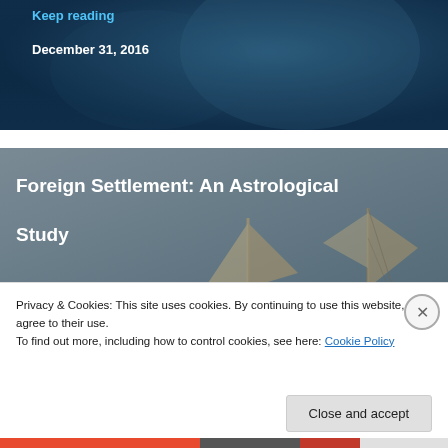[Figure (screenshot): Top dark blue image section of a blog/website with 'Keep reading' link and date December 31, 2016 on dark background]
Keep reading
December 31, 2016
[Figure (screenshot): Gray card section with ancient sailing ships image, featuring article title 'Foreign Settlement: An Astrological Study' and preview text 'How to see foreign travel/settlement in a horoscope? Staying away from one's birth place: affliction to 4th']
Foreign Settlement: An Astrological Study
How to see foreign travel/settlement in a horoscope? Staying away from one's birth place: affliction to 4th
Privacy & Cookies: This site uses cookies. By continuing to use this website, you agree to their use.
To find out more, including how to control cookies, see here: Cookie Policy
Close and accept